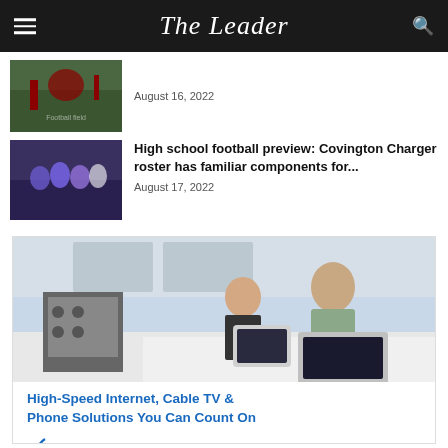The Leader
August 16, 2022
High school football preview: Covington Charger roster has familiar components for...
August 17, 2022
[Figure (photo): Advertisement for Ritter Communications showing a man and child using a laptop and tablet in a kitchen. Text reads: High-Speed Internet, Cable TV & Phone Solutions You Can Count On. Ritter Communications logo at bottom.]